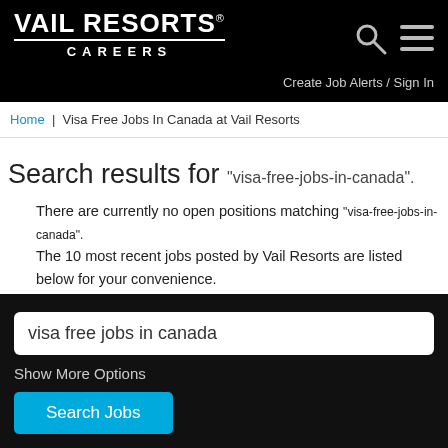VAIL RESORTS CAREERS
Create Job Alerts / Sign In
Home | Visa Free Jobs In Canada at Vail Resorts
Search results for "visa-free-jobs-in-canada".
There are currently no open positions matching "visa-free-jobs-in-canada". The 10 most recent jobs posted by Vail Resorts are listed below for your convenience.
visa free jobs in canada
Show More Options
Search Jobs